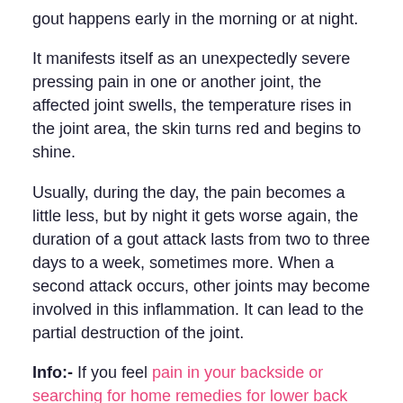gout happens early in the morning or at night.
It manifests itself as an unexpectedly severe pressing pain in one or another joint, the affected joint swells, the temperature rises in the joint area, the skin turns red and begins to shine.
Usually, during the day, the pain becomes a little less, but by night it gets worse again, the duration of a gout attack lasts from two to three days to a week, sometimes more. When a second attack occurs, other joints may become involved in this inflammation. It can lead to the partial destruction of the joint.
Info:- If you feel pain in your backside or searching for home remedies for lower back pain, you can read here.